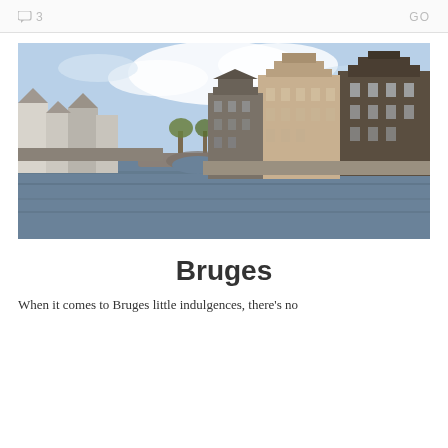💬 3   GO
[Figure (photo): Canal view in Bruges, Belgium, with historic stepped-gable buildings lining the right bank, a stone bridge in the middle distance, and a church tower visible in the background under a partly cloudy sky.]
Bruges
When it comes to Bruges little indulgences, there's no